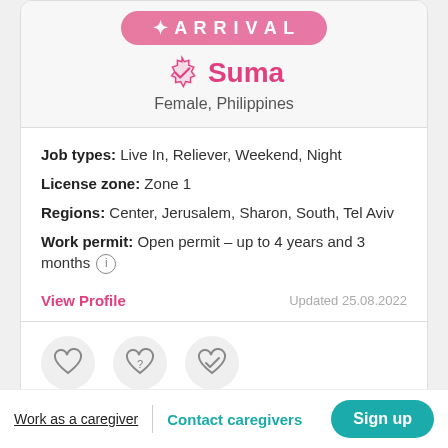Suma
Female, Philippines
Job types: Live In, Reliever, Weekend, Night
License zone: Zone 1
Regions: Center, Jerusalem, Sharon, South, Tel Aviv
Work permit: Open permit – up to 4 years and 3 months (i)
View Profile
Updated 25.08.2022
Work as a caregiver | Contact caregivers  Sign up